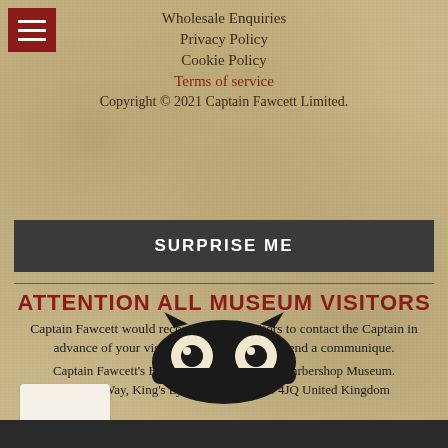Wholesale Enquiries
Privacy Policy
Cookie Policy
Terms of service
Copyright © 2021 Captain Fawcett Limited.
SURPRISE ME
ATTENTION ALL MUSEUM VISITORS
Captain Fawcett would recommend all visitors to contact the Captain in advance of your visit. Please click here to send a communique.
Captain Fawcett's Emporium & Marvellous Barbershop Museum. Friesian Way, King's Lynn, Norfolk PE30 4JQ United Kingdom
[Figure (logo): TripAdvisor owl logo — black and white owl face icon]
Scroll to